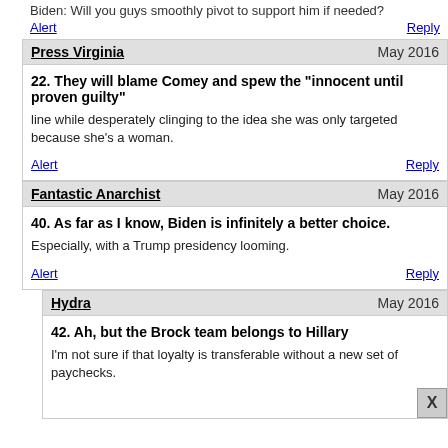Biden: Will you guys smoothly pivot to support him if needed?
Alert   Reply
Press Virginia   May 2016
22. They will blame Comey and spew the "innocent until proven guilty"
line while desperately clinging to the idea she was only targeted because she's a woman.
Alert   Reply
Fantastic Anarchist   May 2016
40. As far as I know, Biden is infinitely a better choice.
Especially, with a Trump presidency looming.
Alert   Reply
Hydra   May 2016
42. Ah, but the Brock team belongs to Hillary
I'm not sure if that loyalty is transferable without a new set of paychecks.